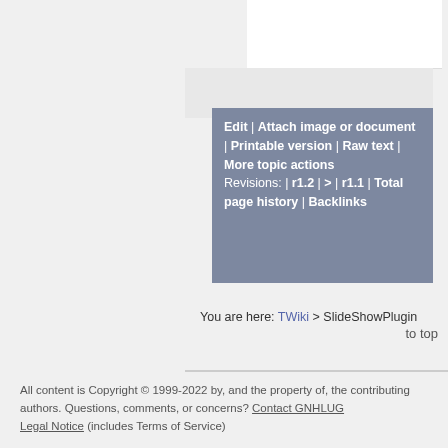Edit | Attach image or document | Printable version | Raw text | More topic actions
Revisions: | r1.2 | > | r1.1 | Total page history | Backlinks
You are here: TWiki > SlideShowPlugin
to top
All content is Copyright © 1999-2022 by, and the property of, the contributing authors. Questions, comments, or concerns? Contact GNHLUG
Legal Notice (includes Terms of Service)